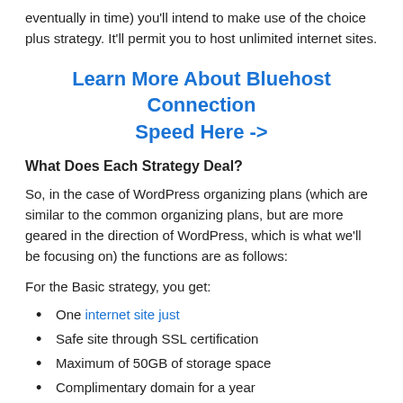eventually in time) you'll intend to make use of the choice plus strategy. It'll permit you to host unlimited internet sites.
Learn More About Bluehost Connection Speed Here ->
What Does Each Strategy Deal?
So, in the case of WordPress organizing plans (which are similar to the common organizing plans, but are more geared in the direction of WordPress, which is what we'll be focusing on) the functions are as follows:
For the Basic strategy, you get:
One internet site just
Safe site through SSL certification
Maximum of 50GB of storage space
Complimentary domain for a year